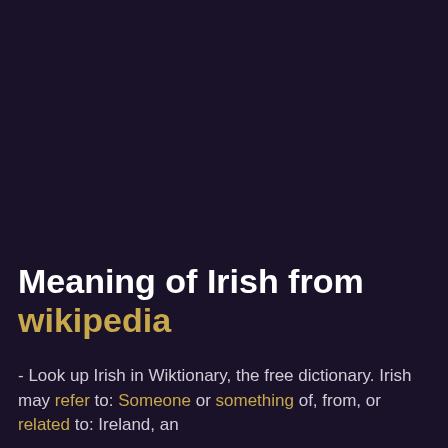Meaning of Irish from wikipedia
- Look up Irish in Wiktionary, the free dictionary. Irish may refer to: Someone or something of, from, or related to: Ireland, an